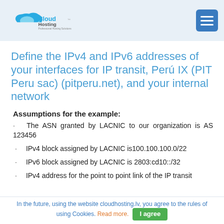CloudHosting logo and navigation menu
Define the IPv4 and IPv6 addresses of your interfaces for IP transit, Perú IX (PIT Peru sac) (pitperu.net), and your internal network
Assumptions for the example:
The ASN granted by LACNIC to our organization is AS 123456
IPv4 block assigned by LACNIC is100.100.100.0/22
IPv6 block assigned by LACNIC is 2803:cd10::/32
IPv4 address for the point to point link of the IP transit
In the future, using the website cloudhosting.lv, you agree to the rules of using Cookies. Read more. I agree